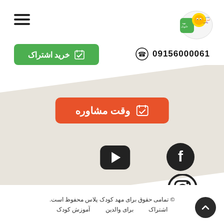[Figure (logo): Mahd Koodak Plus logo with Persian text]
[Figure (illustration): Hamburger menu icon (three horizontal lines)]
09156000061
خرید اشتراک
[Figure (illustration): Angled/diagonal gray background shape]
وقت مشاوره
[Figure (illustration): Facebook icon circle]
[Figure (illustration): YouTube play button rounded square]
[Figure (illustration): Instagram icon circle]
© تمامی حقوق برای مهد کودک پلاس محفوظ است.
آموزش کودک   برای والدین   اشتراک